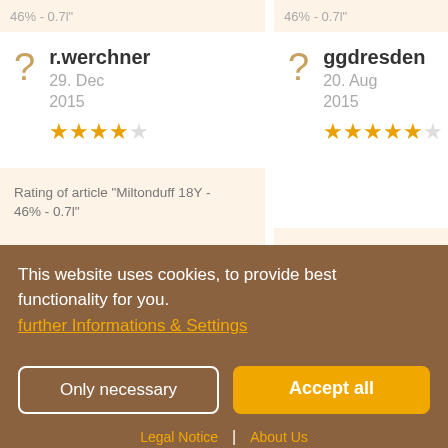46% - 0.7l"
46% - 0.7l"
r.werchner
29. Dec
2015
★★★★☆
ggdresden
20. Aug
2015
★★★★½
Rating of article "Miltonduff 18Y - 46% - 0.7l"
This website uses cookies, to provide best functionality for you.
further Informations & Settings
Only necessary
Accept all
Legal Notice | About Us